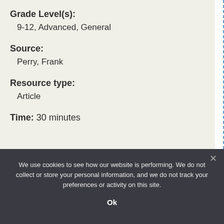Grade Level(s):
9-12, Advanced, General
Source:
Perry, Frank
Resource type:
Article
Time: 30 minutes
We use cookies to see how our website is performing. We do not collect or store your personal information, and we do not track your preferences or activity on this site.
Ok